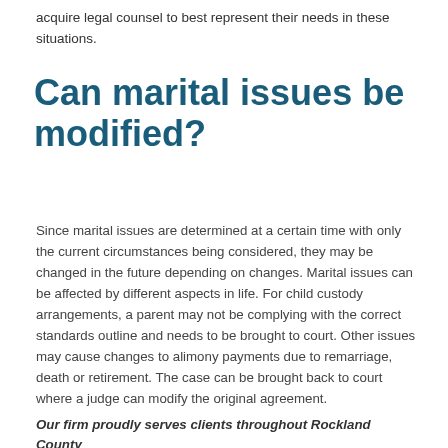acquire legal counsel to best represent their needs in these situations.
Can marital issues be modified?
Since marital issues are determined at a certain time with only the current circumstances being considered, they may be changed in the future depending on changes. Marital issues can be affected by different aspects in life. For child custody arrangements, a parent may not be complying with the correct standards outline and needs to be brought to court. Other issues may cause changes to alimony payments due to remarriage, death or retirement. The case can be brought back to court where a judge can modify the original agreement.
Our firm proudly serves clients throughout Rockland County